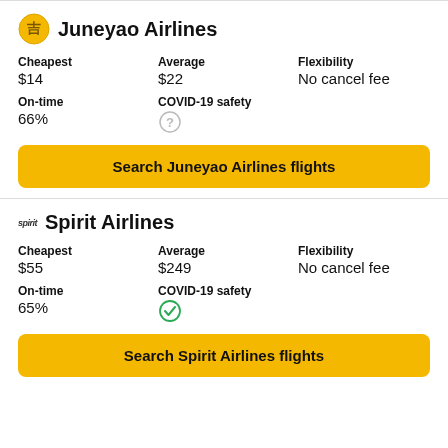Juneyao Airlines
Cheapest: $14 | Average: $22 | Flexibility: No cancel fee
On-time: 66% | COVID-19 safety: ?
Search Juneyao Airlines flights
Spirit Airlines
Cheapest: $55 | Average: $249 | Flexibility: No cancel fee
On-time: 65% | COVID-19 safety: checkmark
Search Spirit Airlines flights